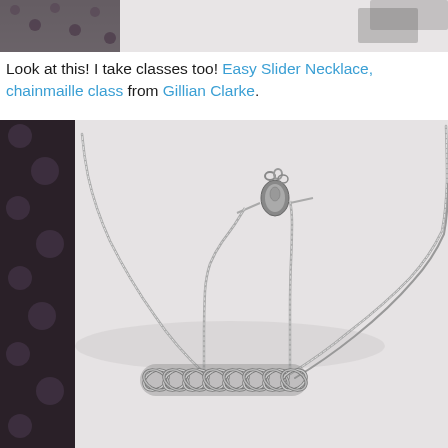[Figure (photo): Partial top image strip showing dark/patterned background]
Look at this! I take classes too! Easy Slider Necklace, chainmaille class from Gillian Clarke.
[Figure (photo): Photo of a silver chainmaille necklace laid on a white background. The necklace features a decorative chainmaille weave centerpiece with fine box-chain strands extending outward, and a lobster claw clasp visible at the top center.]